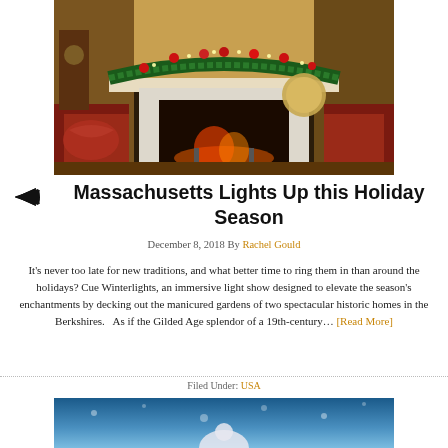[Figure (photo): Holiday decorated fireplace with Christmas garland of red ornaments and lights across the mantle, with a marble surround; red patterned armchairs on either side; warm indoor setting]
Massachusetts Lights Up this Holiday Season
December 8, 2018 By Rachel Gould
It's never too late for new traditions, and what better time to ring them in than around the holidays? Cue Winterlights, an immersive light show designed to elevate the season's enchantments by decking out the manicured gardens of two spectacular historic homes in the Berkshires.   As if the Gilded Age splendor of a 19th-century… [Read More]
Filed Under: USA
[Figure (photo): Blue-toned atmospheric outdoor winter scene, partially visible at bottom of page]